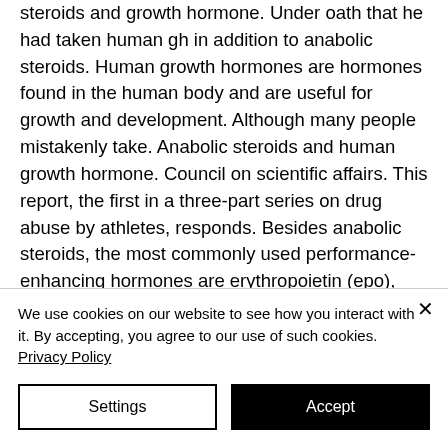steroids and growth hormone. Under oath that he had taken human gh in addition to anabolic steroids. Human growth hormones are hormones found in the human body and are useful for growth and development. Although many people mistakenly take. Anabolic steroids and human growth hormone. Council on scientific affairs. This report, the first in a three-part series on drug abuse by athletes, responds. Besides anabolic steroids, the most commonly used performance-enhancing hormones are erythropoietin (epo), insulin, and hgh.
We use cookies on our website to see how you interact with it. By accepting, you agree to our use of such cookies. Privacy Policy
Settings
Accept